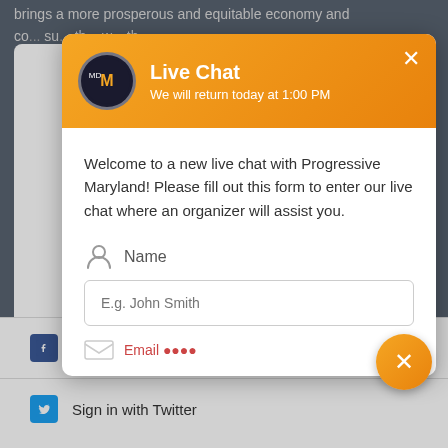brings a more prosperous and equitable economy and co... su... th... w... th...
[Figure (screenshot): Live Chat modal popup from Progressive Maryland website. Header shows orange gradient background with logo, title 'Live Chat', subtitle 'We will return today at 1:00 PM', and a close X button. Body has welcome text: 'Welcome to a new live chat with Progressive Maryland! Please fill out this form to enter our live chat where an organizer will assist you.' Below is a Name field with person icon and input placeholder 'E.g. John Smith'. A partially visible Email row appears at bottom of modal. Below the modal are two social sign-in buttons: 'Sign in with Facebook' and 'Sign in with Twitter'. An orange circular close button appears bottom right.]
Sign in with Facebook
Sign in with Twitter